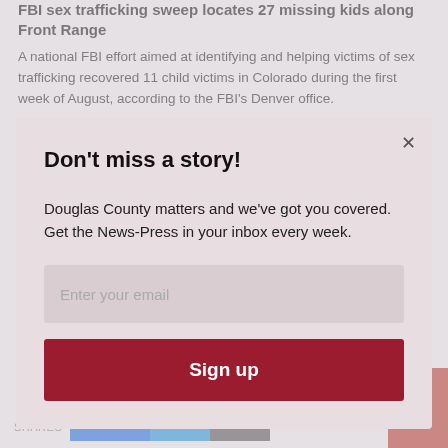FBI sex trafficking sweep locates 27 missing kids along Front Range
A national FBI effort aimed at identifying and helping victims of sex trafficking recovered 11 child victims in Colorado during the first week of August, according to the FBI's Denver office.
[Figure (photo): Thumbnail image for second article about Castle Rock]
Castle Rock gives initial approval for Dawson...
Don't miss a story!
Douglas County matters and we've got you covered. Get the News-Press in your inbox every week.
Enter your email
Sign up
SHARES